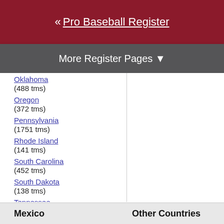« Pro Baseball Register
More Register Pages ▼
Oklahoma (488 tms)
Oregon (372 tms)
Pennsylvania (1751 tms)
Rhode Island (141 tms)
South Carolina (452 tms)
South Dakota (138 tms)
Tennessee (885 tms)
Texas (1704 tms)
Utah (200 tms)
Vermont (70 tms)
Virginia (1072 tms)
Washington (651 tms)
West Virginia (359 tms)
Wisconsin (677 tms)
Wyoming (17 tms)
Mexico
Other Countries